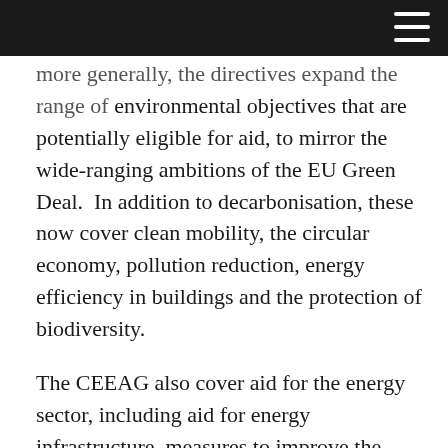more generally, the directives expand the range of environmental objectives that are potentially eligible for aid, to mirror the wide-ranging ambitions of the EU Green Deal. In addition to decarbonisation, these now cover clean mobility, the circular economy, pollution reduction, energy efficiency in buildings and the protection of biodiversity.
The CEEAG also cover aid for the energy sector, including aid for energy infrastructure, measures to improve the security of energy supply, and aid to close fossil fuel mines and power plants. It also includes a new type of aid: reductions from electricity levies for energy-intensive users, to